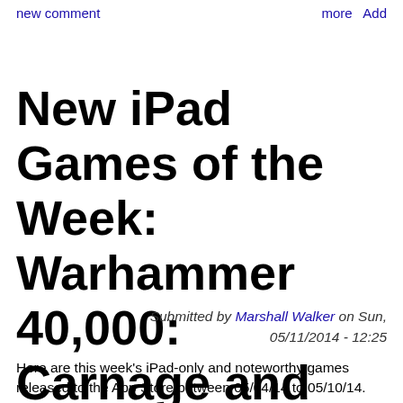more   Add new comment
New iPad Games of the Week: Warhammer 40,000: Carnage and More...
Submitted by Marshall Walker on Sun, 05/11/2014 - 12:25
Here are this week's iPad-only and noteworthy games released to the App Store between 05/04/14 to 05/10/14. Click here for a list of all the